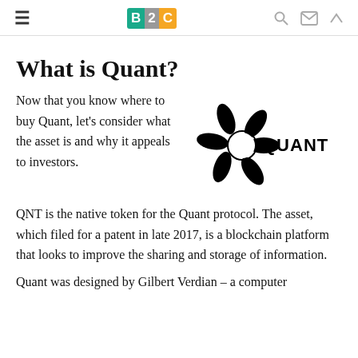B2C logo navigation header
What is Quant?
Now that you know where to buy Quant, let's consider what the asset is and why it appeals to investors.
[Figure (logo): Quant network logo: a black fan/propeller shape with 'QUANT' text to the right]
QNT is the native token for the Quant protocol. The asset, which filed for a patent in late 2017, is a blockchain platform that looks to improve the sharing and storage of information.
Quant was designed by Gilbert Verdian – a computer